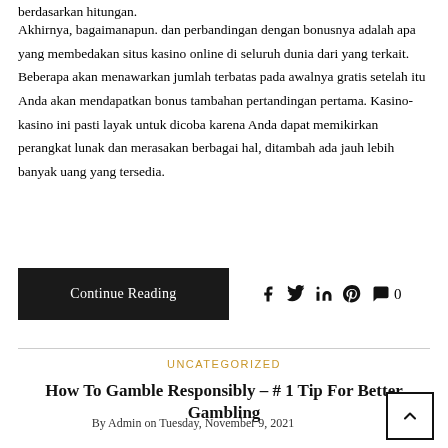berdasarkan hitungan.
Akhirnya, bagaimanapun. dan perbandingan dengan bonusnya adalah apa yang membedakan situs kasino online di seluruh dunia dari yang terkait. Beberapa akan menawarkan jumlah terbatas pada awalnya gratis setelah itu Anda akan mendapatkan bonus tambahan pertandingan pertama. Kasino-kasino ini pasti layak untuk dicoba karena Anda dapat memikirkan perangkat lunak dan merasakan berbagai hal, ditambah ada jauh lebih banyak uang yang tersedia.
Continue Reading
UNCATEGORIZED
How To Gamble Responsibly – # 1 Tip For Better Gambling
By Admin on Tuesday, November 9, 2021